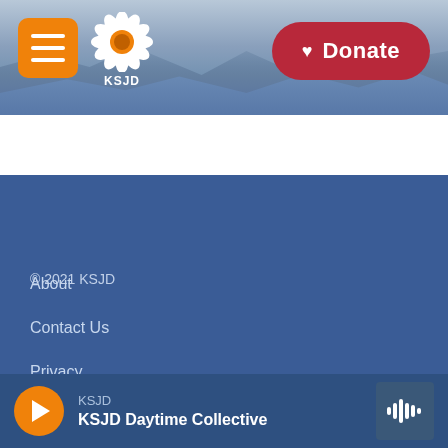[Figure (screenshot): KSJD radio website header with mountain background, hamburger menu, sunflower logo, and red Donate button]
© 2021 KSJD
About
Contact Us
Privacy
FCC Public Files
KSJD
KSJD Daytime Collective